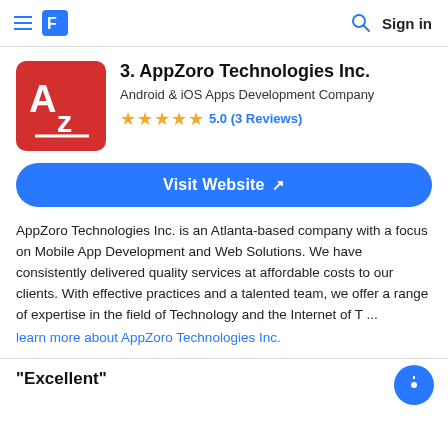Sign in
3. AppZoro Technologies Inc.
Android & iOS Apps Development Company
5.0 (3 Reviews)
Visit Website ↗
AppZoro Technologies Inc. is an Atlanta-based company with a focus on Mobile App Development and Web Solutions. We have consistently delivered quality services at affordable costs to our clients. With effective practices and a talented team, we offer a range of expertise in the field of Technology and the Internet of T ...
learn more about AppZoro Technologies Inc.
"Excellent"